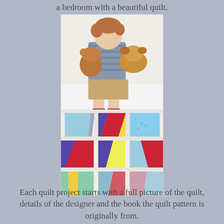a bedroom with a beautiful quilt.
[Figure (photo): A young toddler sitting on a bed holding stuffed animals, with a colorful patchwork quilt featuring geometric shapes in red, blue, yellow, purple, and teal spread across the bed.]
Each quilt project starts with a full picture of the quilt, details of the designer and the book the quilt pattern is originally from.